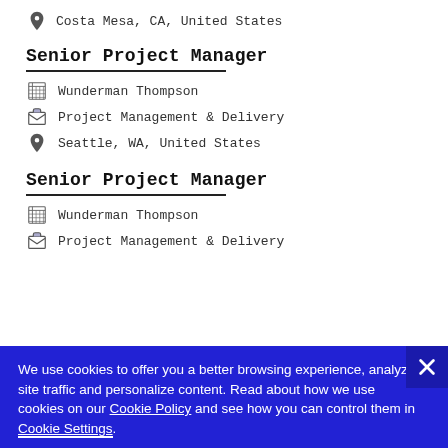Costa Mesa, CA, United States
Senior Project Manager
Wunderman Thompson
Project Management & Delivery
Seattle, WA, United States
Senior Project Manager
Wunderman Thompson
Project Management & Delivery
We use cookies to offer you a better browsing experience, analyze site traffic and personalize content. Read about how we use cookies on our Cookie Policy and see how you can control them in Cookie Settings.